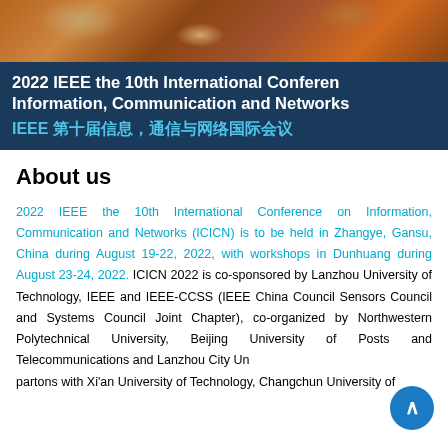[Figure (photo): Photo banner showing textured/woven material in brown and golden tones at the top of the page]
2022 IEEE the 10th International Conference on Information, Communication and Networks
IEEE 第十届信息，通信与网络国际会议
About us
2022 IEEE the 10th International Conference on Information, Communication and Networks (ICICN) is to be held in Zhangye, Gansu, China during August 19-22, 2022, with workshops in Dunhuang during August 23-24, 2022. ICICN 2022 is co-sponsored by Lanzhou University of Technology, IEEE and IEEE-CCSS (IEEE China Council Sensors Council and Systems Council Joint Chapter), co-organized by Northwestern Polytechnical University, Beijing University of Posts and Telecommunications and Lanzhou City University, partons with Xi'an University of Technology, Changchun University of